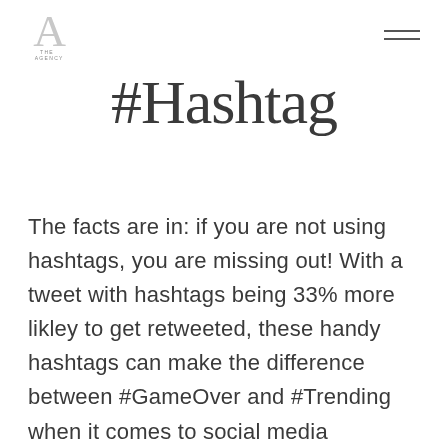THE AGENCY [logo]
#Hashtag
The facts are in: if you are not using hashtags, you are missing out! With a tweet with hashtags being 33% more likley to get retweeted, these handy hashtags can make the difference between #GameOver and #Trending when it comes to social media success. Hashtags are more than just a fad, they are a means of organizing